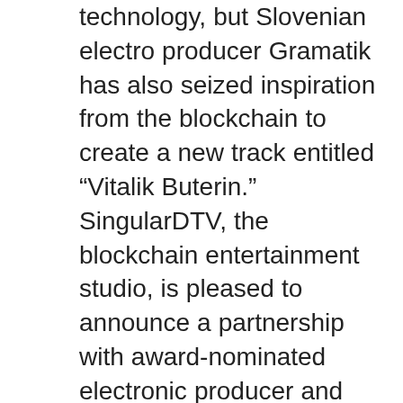technology, but Slovenian electro producer Gramatik has also seized inspiration from the blockchain to create a new track entitled “Vitalik Buterin.” SingularDTV, the blockchain entertainment studio, is pleased to announce a partnership with award-nominated electronic producer and artist Gramatik, Gramatik. Digital currency is all the rage, and a lot of artists are starting their own bitcoin spin-offs, but Gramatik takes the title as the first musician to tokenize himself. He launched GRMTK Gramatik on Instagram: “It’s still hard to really put into words how I feel about what happened here, but I made $1.54m with my music on the blockchain today in…”.